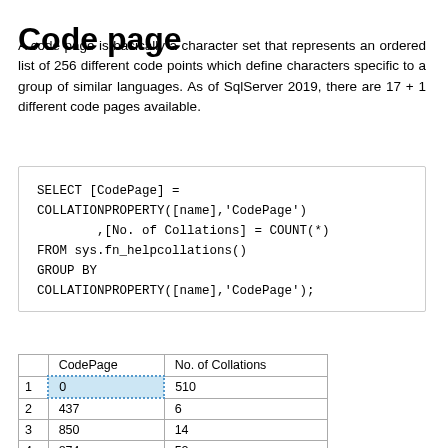Code page
A code page is basically a character set that represents an ordered list of 256 different code points which define characters specific to a group of similar languages. As of SqlServer 2019, there are 17 + 1 different code pages available.
SELECT [CodePage] =
COLLATIONPROPERTY([name],'CodePage')
        ,[No. of Collations] = COUNT(*)
FROM sys.fn_helpcollations()
GROUP BY
COLLATIONPROPERTY([name],'CodePage');
|  | CodePage | No. of Collations |
| --- | --- | --- |
| 1 | 0 | 510 |
| 2 | 437 | 6 |
| 3 | 850 | 14 |
| 4 | 874 | 52 |
| 5 | 932 | 206 |